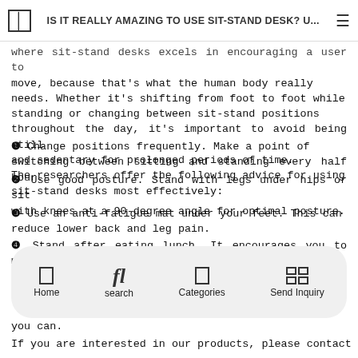IS IT REALLY AMAZING TO USE SIT-STAND DESK? U...
where sit-stand desks excels in encouraging a user to move, because that's what the human body really needs. Whether it's shifting from foot to foot while standing or changing between sit-stand positions throughout the day, it's important to avoid being still and sedentary for prolonged periods of time. The researchers offer the following advice for using sit-stand desks most effectively:
❶ Change positions frequently. Make a point of switching between sitting and standing every half hour.
❷ Use good posture. Stand with legs under hips or sit with knees at a 90-degree angle for optimal posture.
❸ Use an anti-fatigue mat under your feet. This can reduce lower back and leg pain.
❹ Stand after eating lunch. It encourages you to move a bit more, which will help with digestion and burning
you can.
If you are interested in our products, please contact